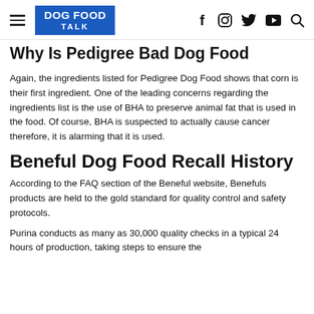DOG FOOD TALK
Why Is Pedigree Bad Dog Food
Again, the ingredients listed for Pedigree Dog Food shows that corn is their first ingredient. One of the leading concerns regarding the ingredients list is the use of BHA to preserve animal fat that is used in the food. Of course, BHA is suspected to actually cause cancer therefore, it is alarming that it is used.
Beneful Dog Food Recall History
According to the FAQ section of the Beneful website, Benefuls products are held to the gold standard for quality control and safety protocols.
Purina conducts as many as 30,000 quality checks in a typical 24 hours of production, taking steps to ensure the